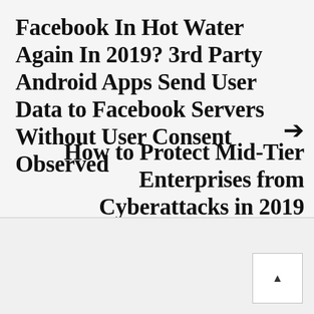Facebook In Hot Water Again In 2019? 3rd Party Android Apps Send User Data to Facebook Servers Without User Consent Observed
How to Protect Mid-Tier Enterprises from Cyberattacks in 2019